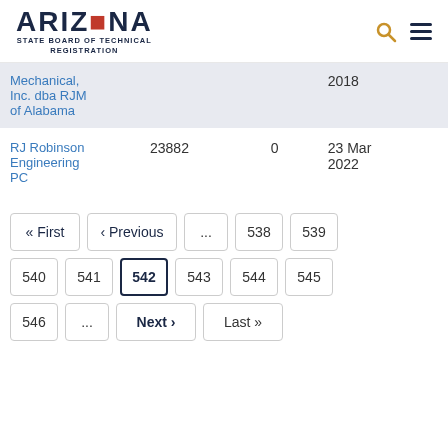[Figure (logo): Arizona State Board of Technical Registration logo with search and menu icons]
| Name | License # | Complaints | Date |
| --- | --- | --- | --- |
| Mechanical, Inc. dba RJM of Alabama |  |  | 2018 |
| RJ Robinson Engineering PC | 23882 | 0 | 23 Mar 2022 |
« First ‹ Previous ... 538 539 540 541 542 543 544 545 546 ... Next › Last »